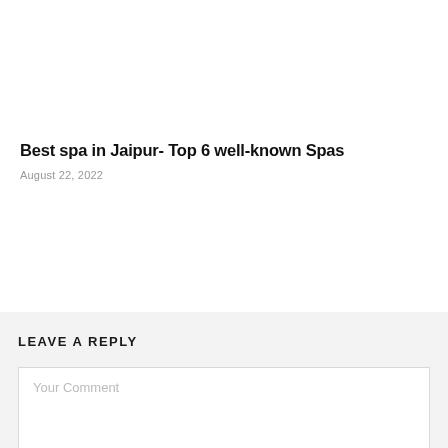Best spa in Jaipur- Top 6 well-known Spas
August 22, 2022
LEAVE A REPLY
Your Comment